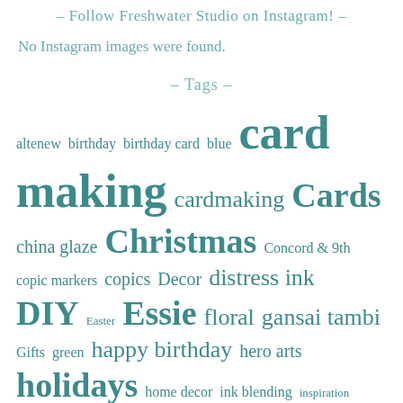– Follow Freshwater Studio on Instagram! –
No Instagram images were found.
– Tags –
altenew birthday birthday card blue card making cardmaking Cards china glaze Christmas Concord & 9th copic markers copics Decor distress ink DIY Easter Essie floral gansai tambi Gifts green happy birthday hero arts holidays home decor ink blending inspiration instagram mama elephant mani manicure midweek manicure nail art Nail Polish nails neat & tangled Orly papercrafts